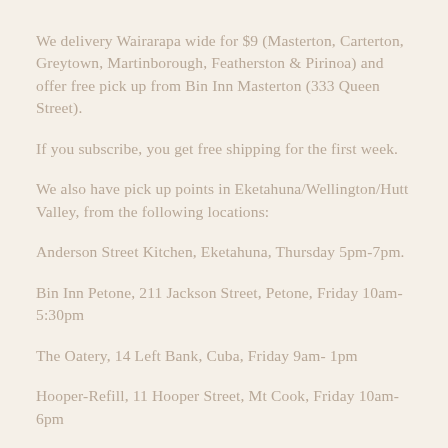We delivery Wairarapa wide for $9 (Masterton, Carterton, Greytown, Martinborough, Featherston & Pirinoa) and offer free pick up from Bin Inn Masterton (333 Queen Street).
If you subscribe, you get free shipping for the first week.
We also have pick up points in Eketahuna/Wellington/Hutt Valley, from the following locations:
Anderson Street Kitchen, Eketahuna, Thursday 5pm-7pm.
Bin Inn Petone, 211 Jackson Street, Petone, Friday 10am-5:30pm
The Oatery, 14 Left Bank, Cuba, Friday 9am- 1pm
Hooper-Refill, 11 Hooper Street, Mt Cook, Friday 10am-6pm
We charge a $9.50 fee for pick up, as this is the cost of the